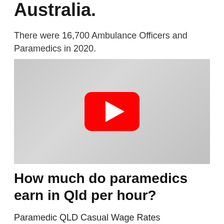Australia.
There were 16,700 Ambulance Officers and Paramedics in 2020.
[Figure (screenshot): YouTube video thumbnail/player showing a grey background with a YouTube play button (red rounded rectangle with white triangle) in the center.]
How much do paramedics earn in Qld per hour?
Paramedic QLD Casual Wage Rates